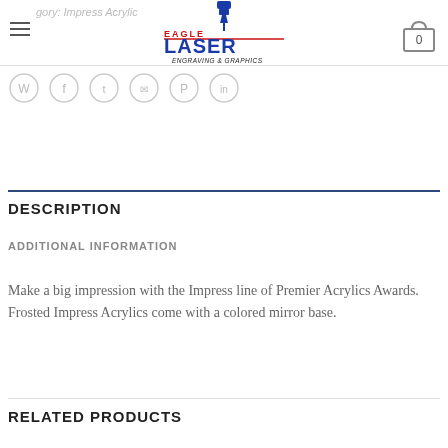Eagle Laser Engraving & Graphics — navigation header with cart icon
gory: Impress Acrylic
[Figure (logo): Eagle Laser Engraving & Graphics logo with blue laser engraver icon above red and blue text]
Social share icons: WhatsApp, Facebook, Twitter, Email, Pinterest, LinkedIn
DESCRIPTION
ADDITIONAL INFORMATION
Make a big impression with the Impress line of Premier Acrylics Awards. Frosted Impress Acrylics come with a colored mirror base.
RELATED PRODUCTS